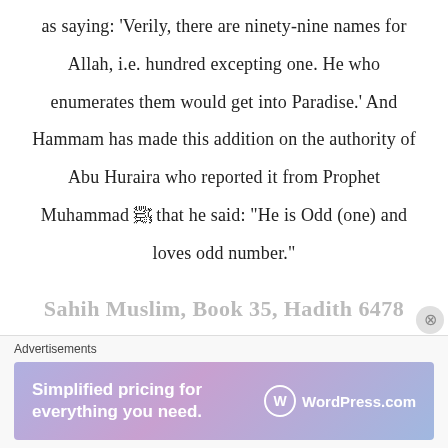as saying: ‘Verily, there are ninety-nine names for Allah, i.e. hundred excepting one. He who enumerates them would get into Paradise.’ And Hammam has made this addition on the authority of Abu Huraira who reported it from Prophet Muhammad � that he said: “He is Odd (one) and loves odd number.”
Sahih Muslim, Book 35, Hadith 6478
Advertisements
[Figure (other): WordPress.com advertisement banner: 'Simplified pricing for everything you need.' with WordPress.com logo]